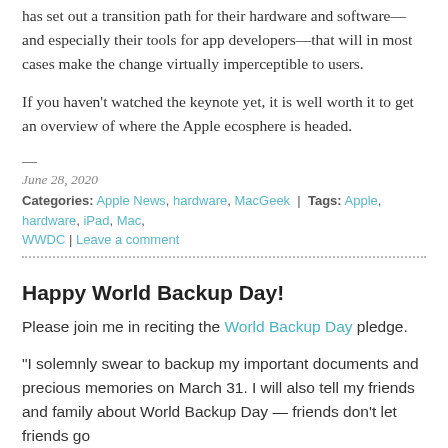has set out a transition path for their hardware and software—and especially their tools for app developers—that will in most cases make the change virtually imperceptible to users.
If you haven't watched the keynote yet, it is well worth it to get an overview of where the Apple ecosphere is headed.
—
June 28, 2020
Categories: Apple News, hardware, MacGeek | Tags: Apple, hardware, iPad, Mac, WWDC | Leave a comment
Happy World Backup Day!
Please join me in reciting the World Backup Day pledge.
“I solemnly swear to backup my important documents and precious memories on March 31. I will also tell my friends and family about World Backup Day — friends don’t let friends go